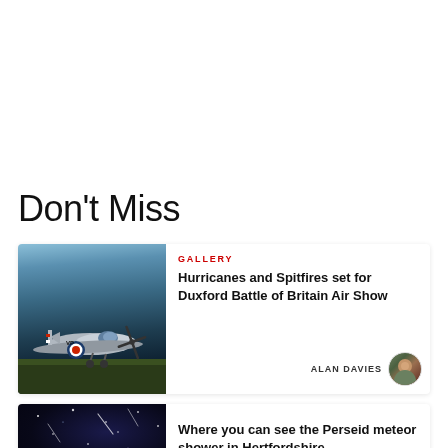Don't Miss
[Figure (photo): A WWII-era Spitfire/Hurricane aircraft on airfield, propeller spinning, RAF roundel visible]
GALLERY
Hurricanes and Spitfires set for Duxford Battle of Britain Air Show
ALAN DAVIES
[Figure (photo): Night sky with stars and meteors, dark blue/purple tones]
Where you can see the Perseid meteor shower in Hertfordshire